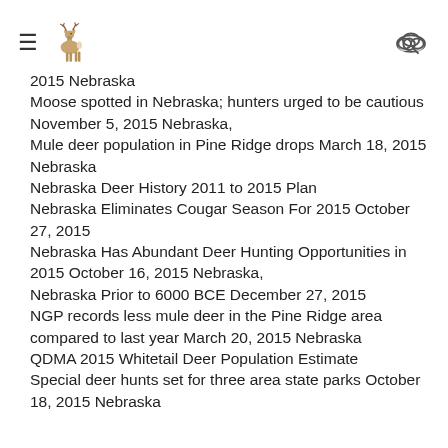Menu | Deer icon | Search icon
2015 Nebraska
Moose spotted in Nebraska; hunters urged to be cautious November 5, 2015 Nebraska,
Mule deer population in Pine Ridge drops March 18, 2015 Nebraska
Nebraska Deer History 2011 to 2015 Plan
Nebraska Eliminates Cougar Season For 2015 October 27, 2015
Nebraska Has Abundant Deer Hunting Opportunities in 2015 October 16, 2015 Nebraska,
Nebraska Prior to 6000 BCE December 27, 2015
NGP records less mule deer in the Pine Ridge area compared to last year March 20, 2015 Nebraska
QDMA 2015 Whitetail Deer Population Estimate
Special deer hunts set for three area state parks October 18, 2015 Nebraska